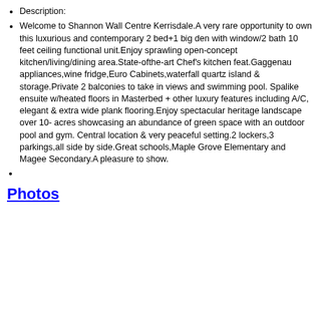Description:
Welcome to Shannon Wall Centre Kerrisdale.A very rare opportunity to own this luxurious and contemporary 2 bed+1 big den with window/2 bath 10 feet ceiling functional unit.Enjoy sprawling open-concept kitchen/living/dining area.State-ofthe-art Chef's kitchen feat.Gaggenau appliances,wine fridge,Euro Cabinets,waterfall quartz island & storage.Private 2 balconies to take in views and swimming pool. Spalike ensuite w/heated floors in Masterbed + other luxury features including A/C, elegant & extra wide plank flooring.Enjoy spectacular heritage landscape over 10- acres showcasing an abundance of green space with an outdoor pool and gym. Central location & very peaceful setting.2 lockers,3 parkings,all side by side.Great schools,Maple Grove Elementary and Magee Secondary.A pleasure to show.
Photos